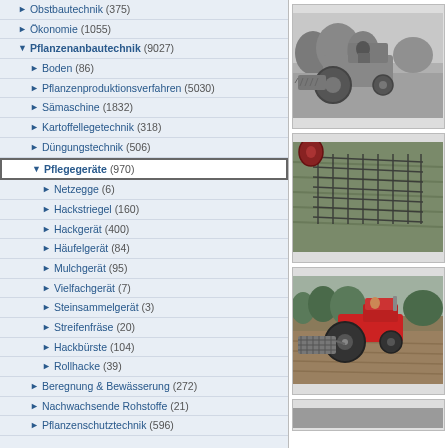Obstbautechnik (375)
Ökonomie (1055)
Pflanzenanbautechnik (9027)
Boden (86)
Pflanzenproduktionsverfahren (5030)
Sämaschine (1832)
Kartoffellegetechnik (318)
Düngungstechnik (506)
Pflegegeräte (970)
Netzegge (6)
Hackstriegel (160)
Hackgerät (400)
Häufelgerät (84)
Mulchgerät (95)
Vielfachgerät (7)
Steinsammelgerät (3)
Streifenfräse (20)
Hackbürste (104)
Rollhacke (39)
Beregnung & Bewässerung (272)
Nachwachsende Rohstoffe (21)
Pflanzenschutztechnik (596)
[Figure (photo): Black and white photograph of an old tractor in a field]
[Figure (photo): Photograph of agricultural harrow/net equipment on soil]
[Figure (photo): Photograph of a red tractor working in a field]